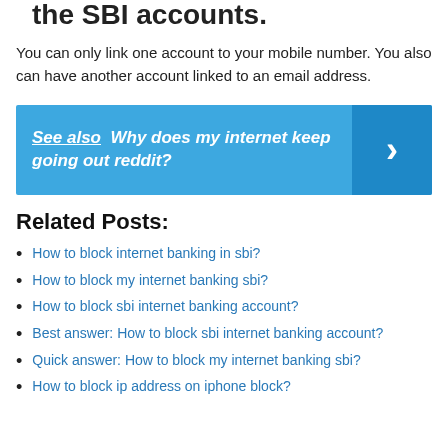the SBI accounts.
You can only link one account to your mobile number. You also can have another account linked to an email address.
[Figure (infographic): Blue banner with 'See also  Why does my internet keep going out reddit?' text and a right-pointing arrow chevron on darker blue background on the right side.]
Related Posts:
How to block internet banking in sbi?
How to block my internet banking sbi?
How to block sbi internet banking account?
Best answer: How to block sbi internet banking account?
Quick answer: How to block my internet banking sbi?
How to block ip address on iphone block?